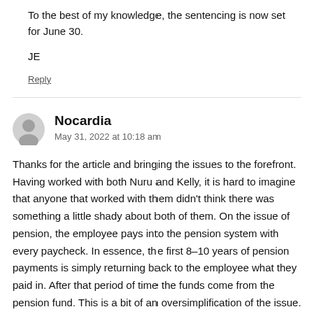To the best of my knowledge, the sentencing is now set for June 30.
JE
Reply
Nocardia
May 31, 2022 at 10:18 am
Thanks for the article and bringing the issues to the forefront. Having worked with both Nuru and Kelly, it is hard to imagine that anyone that worked with them didn't think there was something a little shady about both of them. On the issue of pension, the employee pays into the pension system with every paycheck. In essence, the first 8-10 years of pension payments is simply returning back to the employee what they paid in. After that period of time the funds come from the pension fund. This is a bit of an oversimplification of the issue. If a public pension system wants to cut off an employee's pension, I believe they